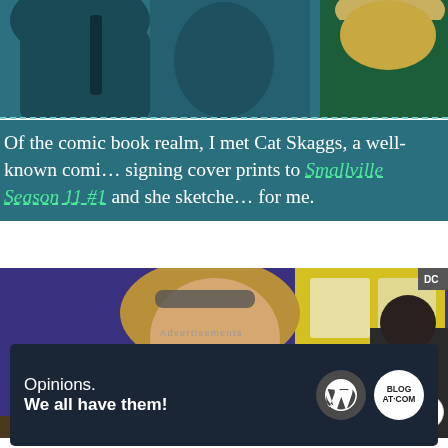[Figure (photo): Photo of people at a comic book convention, two figures visible from shoulders with teal/dark background]
Of the comic book realm, I met Cat Skaggs, a well-known comi... signing cover prints to Smallville Season 11 #1 and she sketche... for me.
[Figure (photo): Photo of Cat Skaggs at a signing table, smiling, with long brown hair and sunglasses on head, comic book art display behind her, a Smallville cover print visible]
Advertisements
[Figure (infographic): WordPress advertisement: Opinions. We all have them! with WordPress logo and Blog logo]